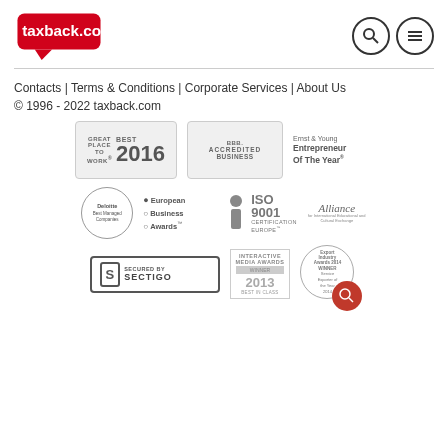[Figure (logo): taxback.com logo in red speech bubble]
[Figure (illustration): Search and menu icon circles in header]
Contacts | Terms & Conditions | Corporate Services | About Us
© 1996 - 2022 taxback.com
[Figure (illustration): Awards and certification badges: Great Place To Work Best 2016, BBB Accredited Business, Ernst & Young Entrepreneur of the Year, Deloitte Best Managed Companies, European Business Awards, ISO 9001 Certification Europe, Alliance for International Educational and Cultural Exchange, Secured by Sectigo, Interactive Media Awards Winner 2013 Best in Class, Export Industry Awards 2014 Winner, and partial badges at bottom]